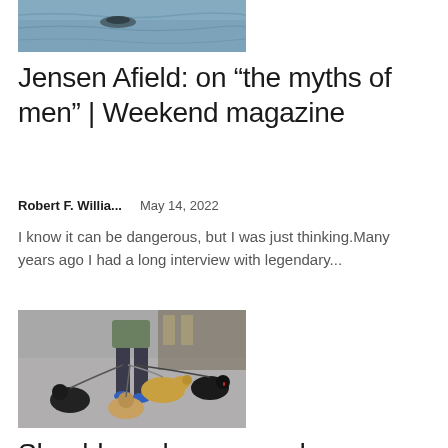[Figure (photo): Water surface photo, partially visible at top]
Jensen Afield: on “the myths of men” | Weekend magazine
Robert F. Willia...    May 14, 2022
I know it can be dangerous, but I was just thinking.Many years ago I had a long interview with legendary...
[Figure (photo): Person walking multiple dogs on city street, including golden retriever, black dog, and spaniel]
Should you keep your dog on a lead off-lead? What are the...